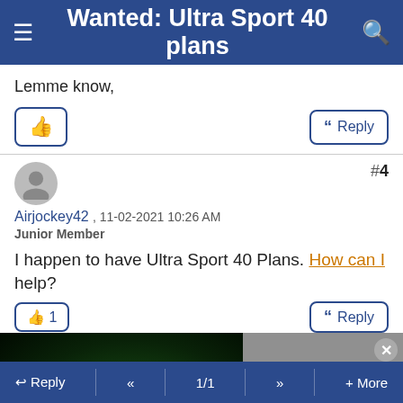Wanted: Ultra Sport 40 plans
Lemme know,
Reply
#4
Airjockey42 , 11-02-2021 10:26 AM
Junior Member
I happen to have Ultra Sport 40 Plans. How can I help?
1 Reply
[Figure (screenshot): Media player showing green northern lights image on left half, and 'Green northern lights dazzle Canadian sky' text on right half (gray). An error overlay reads: The media could not be loaded, either because the server or network failed or because the format is not supported.]
Reply   <<   1/1   >>   + More